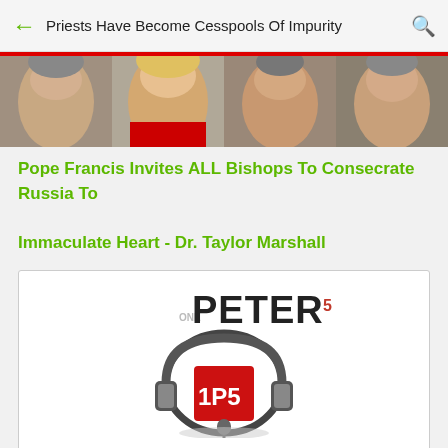Priests Have Become Cesspools Of Impurity
[Figure (photo): Cropped photo showing faces of multiple people against a red background, appearing to be church figures]
Pope Francis Invites ALL Bishops To Consecrate Russia To Immaculate Heart - Dr. Taylor Marshall
[Figure (logo): OnePeterFive (1P5) podcast logo with headphones graphic and red square background]
FSSP Rad Trad Influencer Ann Barnhardt On FSSP Rad Trad Influencer Steve Skojec
Slow... Lull... But... So this is posted... (Originally penned in May...